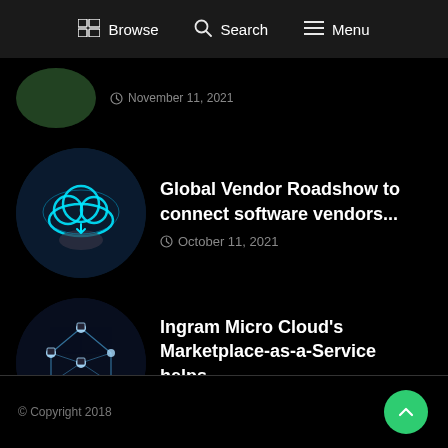Browse  Search  Menu
November 11, 2021
Global Vendor Roadshow to connect software vendors...
October 11, 2021
Ingram Micro Cloud's Marketplace-as-a-Service helps...
June 21, 2021
© Copyright 2018